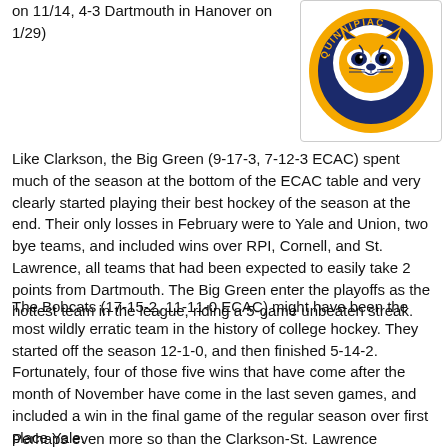on 11/14, 4-3 Dartmouth in Hanover on 1/29)
[Figure (logo): Quinnipiac Bobcats circular logo with a wildcat/bobcat mascot in gold, navy blue and white colors with 'QUINNIPIAC' text around the circle]
Like Clarkson, the Big Green (9-17-3, 7-12-3 ECAC) spent much of the season at the bottom of the ECAC table and very clearly started playing their best hockey of the season at the end. Their only losses in February were to Yale and Union, two bye teams, and included wins over RPI, Cornell, and St. Lawrence, all teams that had been expected to easily take 2 points from Dartmouth. The Big Green enter the playoffs as the hottest team in the league, riding a 5-game unbeaten streak.
The Bobcats (17-15-2, 11-11-0 ECAC) might have been the most wildly erratic team in the history of college hockey. They started off the season 12-1-0, and then finished 5-14-2. Fortunately, four of those five wins that have come after the month of November have come in the last seven games, and included a win in the final game of the regular season over first place Yale.
Perhaps even more so than the Clarkson-St. Lawrence